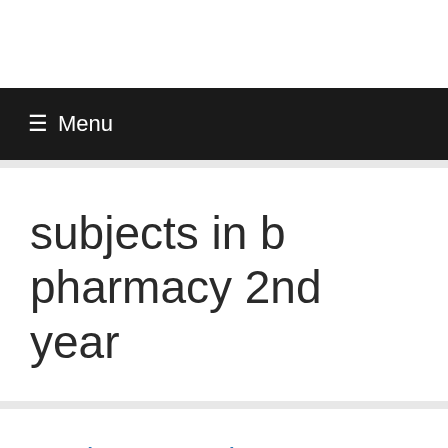≡ Menu
subjects in b pharmacy 2nd year
B. Pharmacy First Year Books List – Subject Notes Books PDF
October 10, 2017 by P...